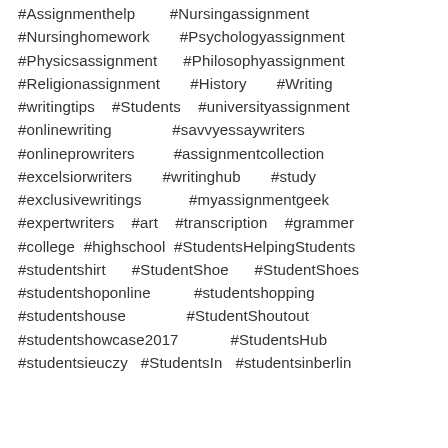#Assignmenthelp #Nursingassignment #Nursinghomework #Psychologyassignment #Physicsassignment #Philosophyassignment #Religionassignment #History #Writing #writingtips #Students #universityassignment #onlinewriting #savvyessaywriters #onlineprowriters #assignmentcollection #excelsiorwriters #writinghub #study #exclusivewritings #myassignmentgeek #expertwriters #art #transcription #grammer #college #highschool #StudentsHelpingStudents #studentshirt #StudentShoe #StudentShoes #studentshoponline #studentshopping #studentshouse #StudentShoutout #studentshowcase2017 #StudentsHub #studentsieuczy #StudentsIn #studentsinberlin